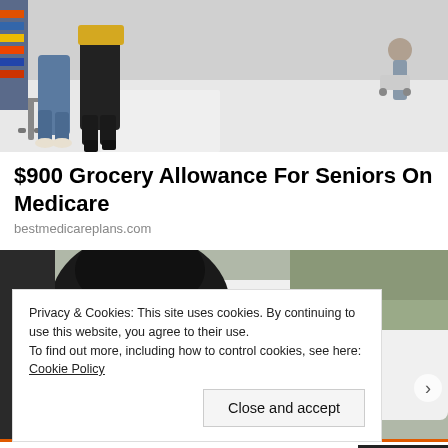[Figure (photo): Security camera or surveillance footage showing people with shopping carts in a store aisle, viewed from above/behind.]
$900 Grocery Allowance For Seniors On Medicare
bestmedicareplans.com
[Figure (photo): Person near a white vehicle outdoors, shot from behind, with trees and shrubs in background.]
Privacy & Cookies: This site uses cookies. By continuing to use this website, you agree to their use.
To find out more, including how to control cookies, see here: Cookie Policy
Close and accept